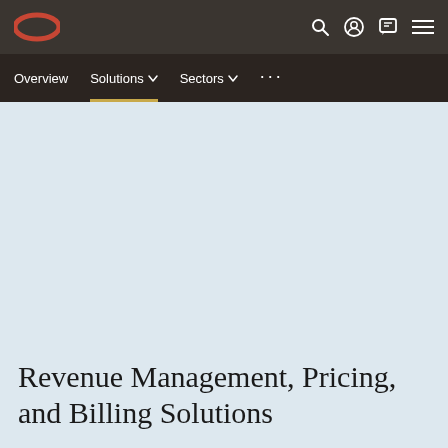Oracle logo | Search | Account | Chat | Menu
Overview | Solutions | Sectors | ...
Revenue Management, Pricing, and Billing Solutions